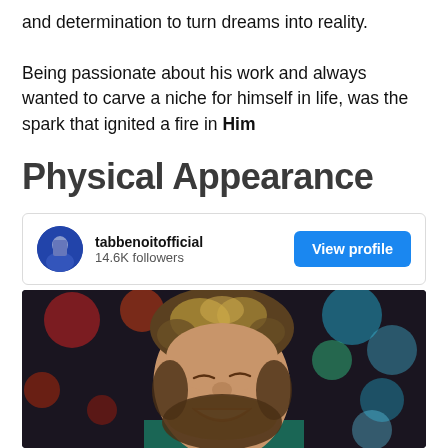and determination to turn dreams into reality.

Being passionate about his work and always wanted to carve a niche for himself in life, was the spark that ignited a fire in Him
Physical Appearance
[Figure (screenshot): Instagram profile card for tabbenoitofficial showing 14.6K followers with a View profile button]
[Figure (photo): A man with curly hair and beard laughing with head tilted back, performing on stage with colorful bokeh lights in background]